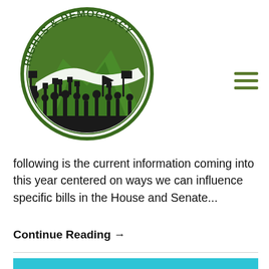[Figure (logo): Rights & Democracy organization logo: circular logo with green border, text 'RIGHTS & DEMOCRACY' around the top arc in dark green, a sun with golden rays in the upper center, green mountain silhouette, white cloud, and black silhouette of people raising fists and signs at the bottom.]
[Figure (other): Hamburger menu icon with three horizontal dark green lines]
following is the current information coming into this year centered on ways we can influence specific bills in the House and Senate...
Continue Reading →
[Figure (photo): Partial bottom image with teal/cyan background, partially visible]